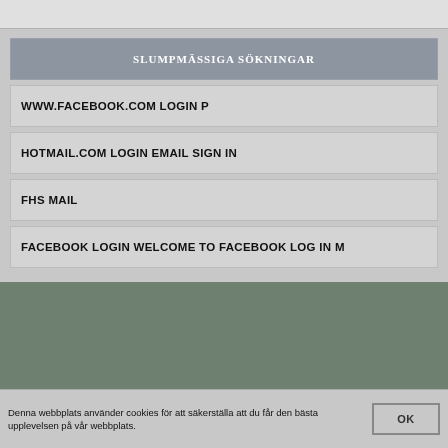[Figure (screenshot): Top grey bar from a browser/app UI]
SLUMPMÄSSIGA SÖKNINGAR
WWW.FACEBOOK.COM LOGIN P
HOTMAIL.COM LOGIN EMAIL SIGN IN
FHS MAIL
FACEBOOK LOGIN WELCOME TO FACEBOOK LOG IN M
Denna webbplats använder cookies för att säkerställa att du får den bästa upplevelsen på vår webbplats.